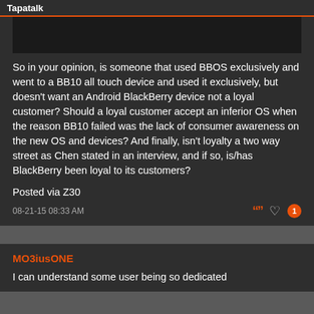Tapatalk
[Figure (screenshot): Dark image placeholder at top of post]
So in your opinion, is someone that used BBOS exclusively and went to a BB10 all touch device and used it exclusively, but doesn't want an Android BlackBerry device not a loyal customer? Should a loyal customer accept an inferior OS when the reason BB10 failed was the lack of consumer awareness on the new OS and devices? And finally, isn't loyalty a two way street as Chen stated in an interview, and if so, is/has BlackBerry been loyal to its customers?
Posted via Z30
08-21-15 08:33 AM
MO3iusONE
I can understand some user being so dedicated